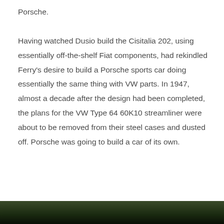Porsche.
Having watched Dusio build the Cisitalia 202, using essentially off-the-shelf Fiat components, had rekindled Ferry's desire to build a Porsche sports car doing essentially the same thing with VW parts. In 1947, almost a decade after the design had been completed, the plans for the VW Type 64 60K10 streamliner were about to be removed from their steel cases and dusted off. Porsche was going to build a car of its own.
[Figure (photo): Partial view of a dark photograph at the bottom of the page, appears to show an outdoor/forest scene.]